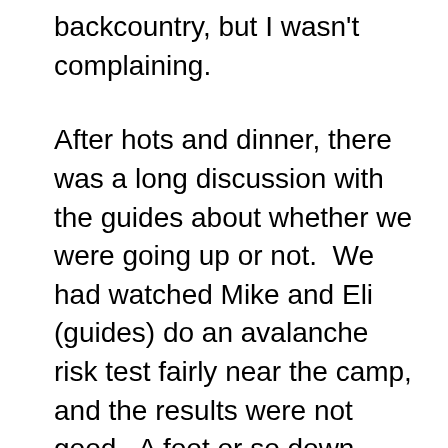backcountry, but I wasn't complaining.
After hots and dinner, there was a long discussion with the guides about whether we were going up or not.  We had watched Mike and Eli (guides) do an avalanche risk test fairly near the camp, and the results were not good.  A foot or so down under lightly packed fresh snow was a layer of fat ice crystals — the ballbearings of the avalanche world.  Fresh wind-loaded snow on the glacier above us would cover this layer, but do nothing to stabilize it.  Above us, the mountain ramained cloaked the whitest of clouds.
We were told to be packed and ready to go, taking our warm weather gear, food and water, and little else.  We'd hear from them at midnight, or 1am or 2am if the